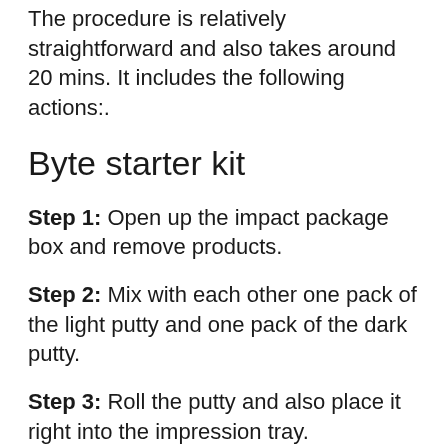The procedure is relatively straightforward and also takes around 20 mins. It includes the following actions:.
Byte starter kit
Step 1: Open up the impact package box and remove products.
Step 2: Mix with each other one pack of the light putty and one pack of the dark putty.
Step 3: Roll the putty and also place it right into the impression tray.
Step 4: Place the tray in your mouth. Attack down for 3 1/2 mins (apply consistent stress).